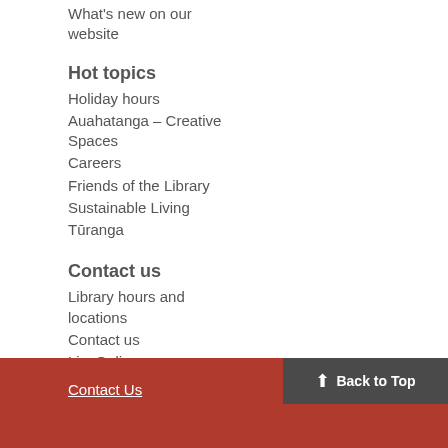What's new on our website
Hot topics
Holiday hours
Auahatanga – Creative Spaces
Careers
Friends of the Library
Sustainable Living
Tūranga
Contact us
Library hours and locations
Contact us
LiveOnline
AnyQuestions
Contact Us   Back to Top